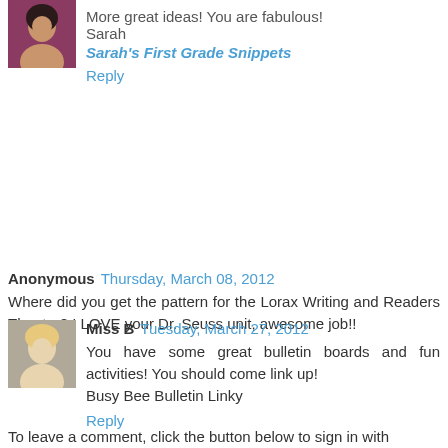[Figure (photo): Small avatar photo of a woman with dark hair]
More great ideas! You are fabulous!
Sarah
Sarah's First Grade Snippets
Reply
Anonymous  Thursday, March 08, 2012
Where did you get the pattern for the Lorax Writing and Readers Theater? I LOVE your Dr. Seuss unit, awesome job!!
Reply
[Figure (photo): Small avatar photo of a blonde woman]
Miss B  Tuesday, March 27, 2012
You have some great bulletin boards and fun activities! You should come link up!
Busy Bee Bulletin Linky
Reply
To leave a comment, click the button below to sign in with